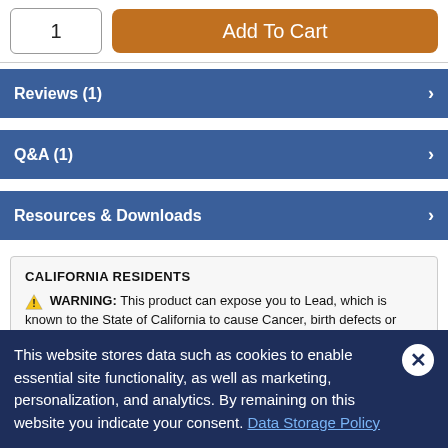[Figure (screenshot): Quantity input box showing '1' and an orange 'Add To Cart' button]
Reviews (1)
Q&A (1)
Resources & Downloads
CALIFORNIA RESIDENTS
WARNING: This product can expose you to Lead, which is known to the State of California to cause Cancer, birth defects or other reproductive harm. For more information go to www.p65warnings.ca.gov.
This website stores data such as cookies to enable essential site functionality, as well as marketing, personalization, and analytics. By remaining on this website you indicate your consent. Data Storage Policy